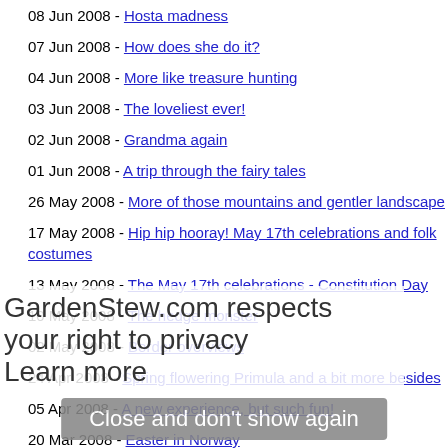08 Jun 2008 - Hosta madness
07 Jun 2008 - How does she do it?
04 Jun 2008 - More like treasure hunting
03 Jun 2008 - The loveliest ever!
02 Jun 2008 - Grandma again
01 Jun 2008 - A trip through the fairy tales
26 May 2008 - More of those mountains and gentler landscape
17 May 2008 - Hip hip hooray! May 17th celebrations and folk costumes
13 May 2008 - The May 17th celebrations - Constitution Day
10 May 2008 - The hedge monster
02 May 2008 - Border overviews
24 Apr 2008 - Spring flowering Primula and a bit more besides
05 Apr 2008 - A new experience, but such fun!
20 Mar 2008 - Easter in Norway
GardenStew.com respects your right to privacy
Learn more
Close and don't show again